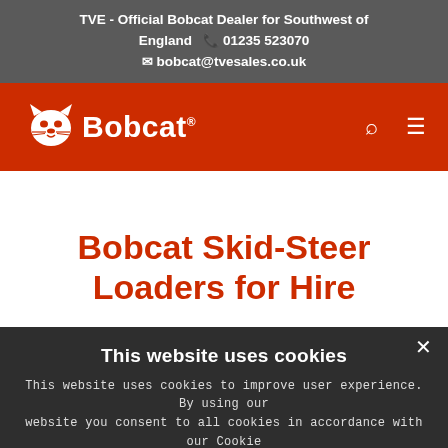TVE - Official Bobcat Dealer for Southwest of England  📞 01235 523070  ✉ bobcat@tvesales.co.uk
[Figure (logo): Bobcat logo — white bobcat head icon and white 'Bobcat.' wordmark on red navigation bar with search and menu icons]
Bobcat Skid-Steer Loaders for Hire
This website uses cookies
This website uses cookies to improve user experience. By using our website you consent to all cookies in accordance with our Cookie Policy. Read more
I AGREE    I DISAGREE
Share This